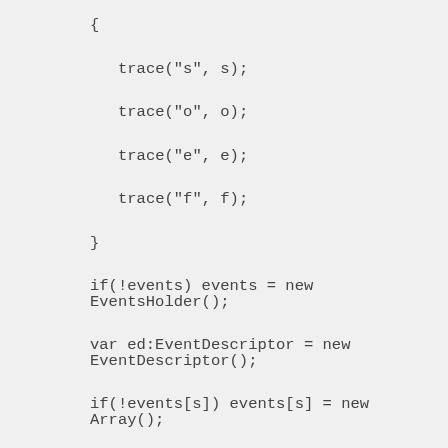{
    trace("s", s);
    trace("o", o);
    trace("e", e);
    trace("f", f);
}

if(!events) events = new EventsHolder();

var ed:EventDescriptor = new
EventDescriptor();

if(!events[s]) events[s] = new Array();

ed.object =